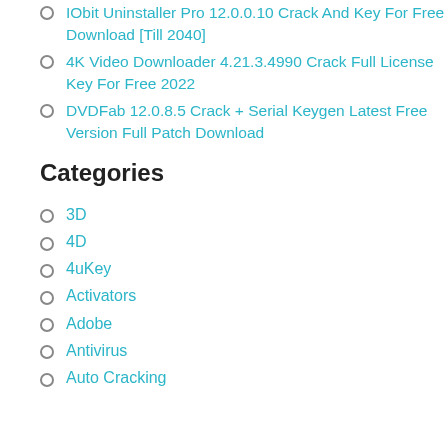IObit Uninstaller Pro 12.0.0.10 Crack And Key For Free Download [Till 2040]
4K Video Downloader 4.21.3.4990 Crack Full License Key For Free 2022
DVDFab 12.0.8.5 Crack + Serial Keygen Latest Free Version Full Patch Download
Categories
3D
4D
4uKey
Activators
Adobe
Antivirus
Auto Cracking